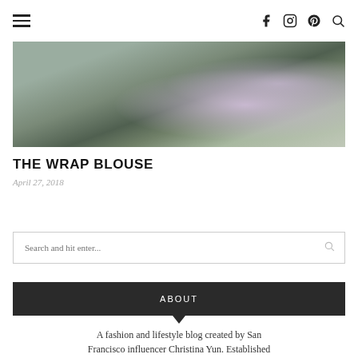Navigation header with hamburger menu and social icons (Facebook, Instagram, Pinterest, Search)
[Figure (photo): A person wearing a white top and distressed jeans, holding a clutch, standing in front of flowering bushes on a sidewalk.]
THE WRAP BLOUSE
April 27, 2018
Search and hit enter...
ABOUT
A fashion and lifestyle blog created by San Francisco influencer Christina Yun. Established